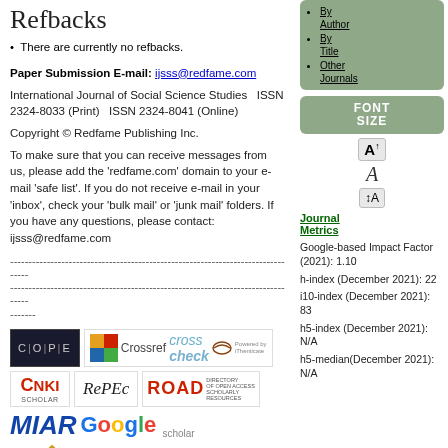Refbacks
There are currently no refbacks.
Paper Submission E-mail: ijsss@redfame.com
International Journal of Social Science Studies   ISSN 2324-8033 (Print)   ISSN 2324-8041 (Online)
Copyright © Redfame Publishing Inc.
To make sure that you can receive messages from us, please add the 'redfame.com' domain to your e-mail 'safe list'. If you do not receive e-mail in your 'inbox', check your 'bulk mail' or 'junk mail' folders. If you have any questions, please contact: ijsss@redfame.com
------------------------------------------------------------------------------------------------------------------------------------------------------------------------
[Figure (logo): Row of logos: COPE, Crossref, CrossCheck powered by iThenticate]
[Figure (logo): Row of logos: CNKI Scholar, RePEc, ROAD Directory of Open Access Scholarly Resources]
[Figure (logo): Row of logos: MIAR, Google Scholar]
[Figure (logo): HeinOnline logo]
By Author
By Title
Other Journals
FONT SIZE
Journal Metrics
Google-based Impact Factor (2021): 1.10
h-index (December 2021): 22
i10-index (December 2021): 83
h5-index (December 2021): N/A
h5-median(December 2021): N/A